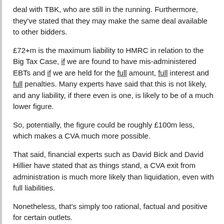deal with TBK, who are still in the running. Furthermore, they've stated that they may make the same deal available to other bidders.
£72+m is the maximum liability to HMRC in relation to the Big Tax Case, if we are found to have mis-administered EBTs and if we are held for the full amount, full interest and full penalties. Many experts have said that this is not likely, and any liability, if there even is one, is likely to be of a much lower figure.
So, potentially, the figure could be roughly £100m less, which makes a CVA much more possible.
That said, financial experts such as David Bick and David Hillier have stated that as things stand, a CVA exit from administration is much more likely than liquidation, even with full liabilities.
Nonetheless, that's simply too rational, factual and positive for certain outlets.